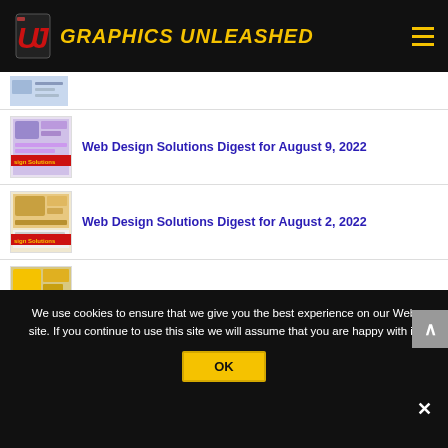GRAPHICS UNLEASHED
[Figure (screenshot): Partial thumbnail of a Web Design Solutions article image at top]
Web Design Solutions Digest for August 9, 2022
Web Design Solutions Digest for August 2, 2022
Web Design Solutions Digest for July 26, 2022
We use cookies to ensure that we give you the best experience on our Web site. If you continue to use this site we will assume that you are happy with it.